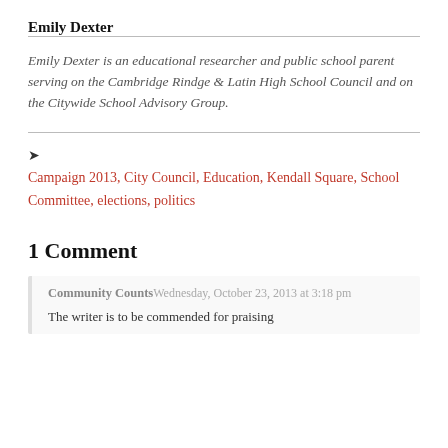Emily Dexter
Emily Dexter is an educational researcher and public school parent serving on the Cambridge Rindge & Latin High School Council and on the Citywide School Advisory Group.
Campaign 2013, City Council, Education, Kendall Square, School Committee, elections, politics
1 Comment
Community Counts
Wednesday, October 23, 2013 at 3:18 pm
The writer is to be commended for praising